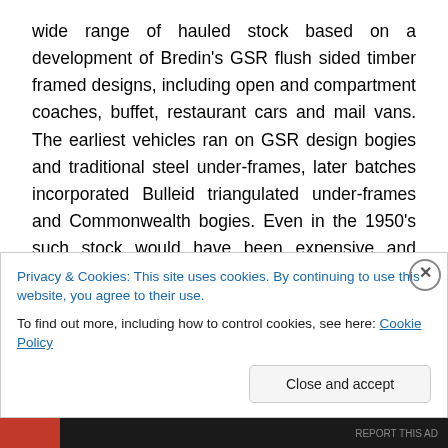wide range of hauled stock based on a development of Bredin's GSR flush sided timber framed designs, including open and compartment coaches, buffet, restaurant cars and mail vans. The earliest vehicles ran on GSR design bogies and traditional steel under-frames, later batches incorporated Bulleid triangulated under-frames and Commonwealth bogies. Even in the 1950's such stock would have been expensive and labour intensive to produce and not readily adaptable to mass production, requiring a large highly skilled workforce to machine and assemble components. The Park Royals with their
Privacy & Cookies: This site uses cookies. By continuing to use this website, you agree to their use.
To find out more, including how to control cookies, see here: Cookie Policy